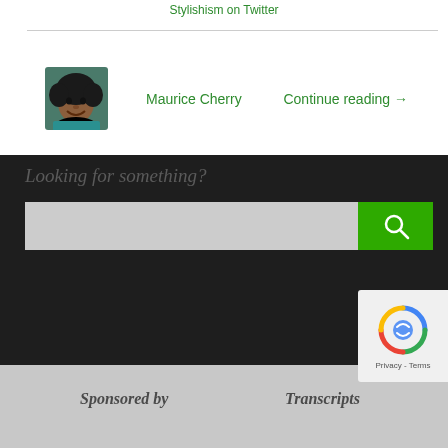Stylishism on Twitter
[Figure (photo): Author photo of Maurice Cherry, a Black man with an afro, wearing a teal shirt]
Maurice Cherry
Continue reading →
Looking for something?
[Figure (other): Search bar with green search button containing magnifying glass icon]
[Figure (other): reCAPTCHA badge with Privacy - Terms text]
Sponsored by
Transcripts